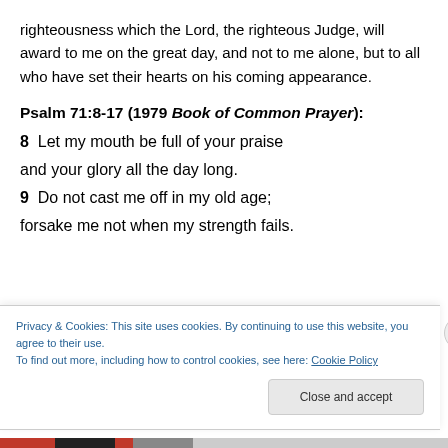righteousness which the Lord, the righteous Judge, will award to me on the great day, and not to me alone, but to all who have set their hearts on his coming appearance.
Psalm 71:8-17 (1979 Book of Common Prayer):
8  Let my mouth be full of your praise
and your glory all the day long.
9  Do not cast me off in my old age;
forsake me not when my strength fails.
Privacy & Cookies: This site uses cookies. By continuing to use this website, you agree to their use.
To find out more, including how to control cookies, see here: Cookie Policy
Close and accept